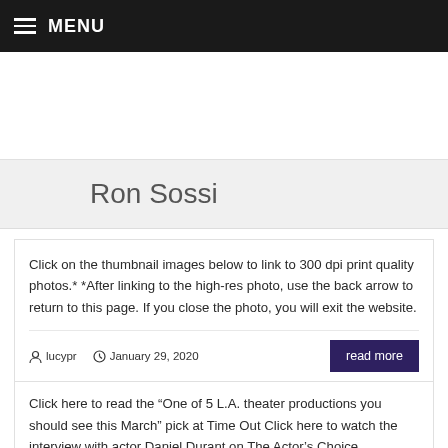MENU
[Figure (other): Banner/advertisement placeholder area]
Ron Sossi
Click on the thumbnail images below to link to 300 dpi print quality photos.* *After linking to the high-res photo, use the back arrow to return to this page. If you close the photo, you will exit the website.
lucypr   January 29, 2020
Click here to read the “One of 5 L.A. theater productions you should see this March” pick at Time Out Click here to watch the interview with actor Daniel Durant on The Actor’s Choice